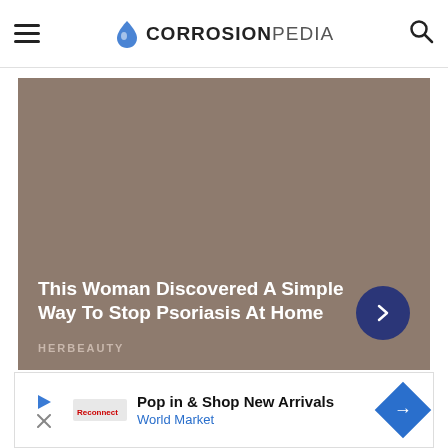CORROSIONPEDIA
[Figure (other): Promotional advertisement image with brown/taupe background. Text overlay reads 'This Woman Discovered A Simple Way To Stop Psoriasis At Home' with HERBEAUTY branding and a dark blue circular arrow button.]
[Figure (other): Bottom advertisement banner for World Market: 'Pop in & Shop New Arrivals' with navigation arrow icon.]